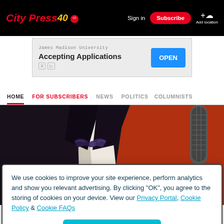City Press 40 — Sign in | Subscribe | Add location
[Figure (screenshot): Advertisement banner: James Madison University — Accepting Applications — OPEN button]
HOME  FOR SUBSCRIBERS  NEWS  POLITICS  COLUMNISTS
[Figure (photo): Close-up photo of a tuxedo with a purple/black bow tie and a microphone on a red background]
We use cookies to improve your site experience, perform analytics and show you relevant advertising. By clicking "OK", you agree to the storing of cookies on your device. View our Privacy Portal, Cookie Policy & Cookie FAQs